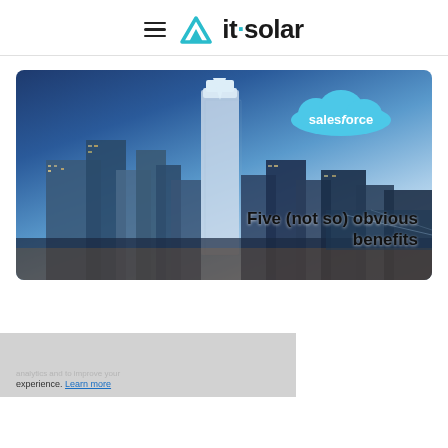≡ it-solar
[Figure (illustration): Hero image showing Salesforce Tower in San Francisco city skyline at dusk/night, with a blue cloud Salesforce logo badge in upper right and text 'Five (not so) obvious benefits' overlaid on the right side of the image.]
experience. Learn more
5 (Not so Obvious) Benefits of Salesforce